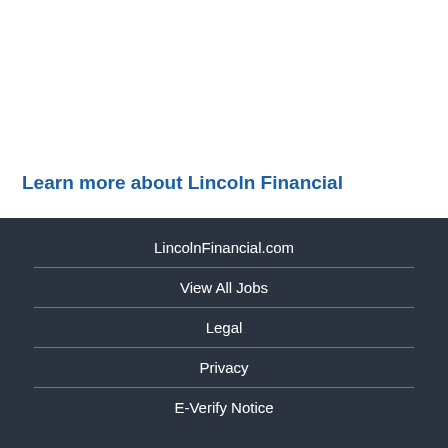Learn more about Lincoln Financial
LincolnFinancial.com
View All Jobs
Legal
Privacy
E-Verify Notice